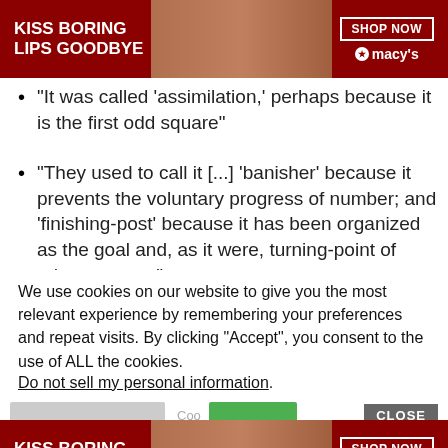[Figure (illustration): Macy's advertisement banner: dark red background with woman's face with red lips, text 'KISS BORING LIPS GOODBYE', 'SHOP NOW' button, Macy's star logo]
“It was called ‘assimilation,’ perhaps because it is the first odd square”
“They used to call it [...] ‘banisher’ because it prevents the voluntary progress of number; and ‘finishing-post’ because it has been organized as the goal and, as it were, turning-point of advancement.”
We use cookies on our website to give you the most relevant experience by remembering your preferences and repeat visits. By clicking “Accept”, you consent to the use of ALL the cookies.
Do not sell my personal information.
[Figure (illustration): Macy's advertisement banner at bottom: dark red background with woman's face with red lips, text 'KISS BORING LIPS GOODBYE', 'SHOP NOW' button, Macy's star logo]